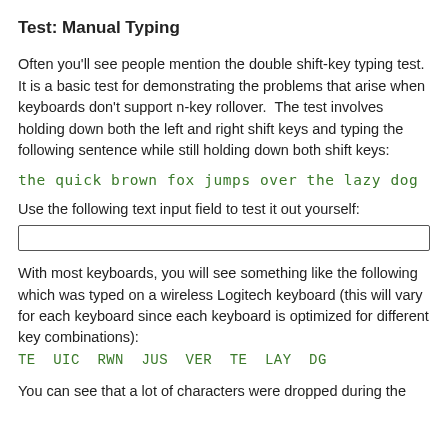Test: Manual Typing
Often you'll see people mention the double shift-key typing test.  It is a basic test for demonstrating the problems that arise when keyboards don't support n-key rollover.  The test involves holding down both the left and right shift keys and typing the following sentence while still holding down both shift keys:
the quick brown fox jumps over the lazy dog
Use the following text input field to test it out yourself:
(input field)
With most keyboards, you will see something like the following which was typed on a wireless Logitech keyboard (this will vary for each keyboard since each keyboard is optimized for different key combinations): TE UIC RWN JUS VER TE LAY DG
You can see that a lot of characters were dropped during the